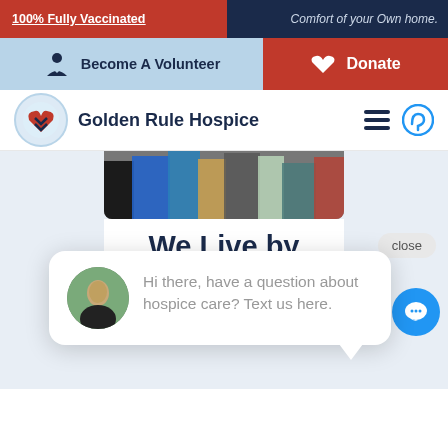100% Fully Vaccinated
Comfort of your Own home.
Become A Volunteer
Donate
Golden Rule Hospice
[Figure (photo): Photo of group of people standing, lower half visible showing blue, teal, and khaki pants]
We Live by
close
Hi there, have a question about hospice care? Text us here.
you would like to be treated.
[Figure (illustration): Blue circular chat button with speech bubble icon]